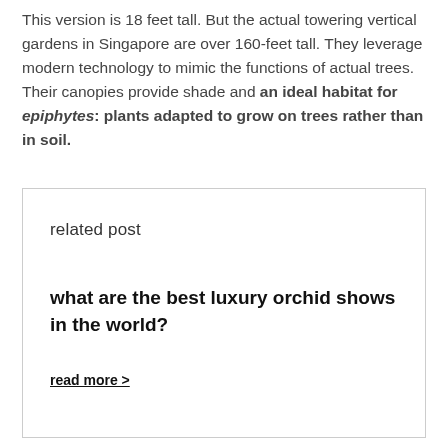This version is 18 feet tall. But the actual towering vertical gardens in Singapore are over 160-feet tall. They leverage modern technology to mimic the functions of actual trees. Their canopies provide shade and an ideal habitat for epiphytes: plants adapted to grow on trees rather than in soil.
related post
what are the best luxury orchid shows in the world?
read more >